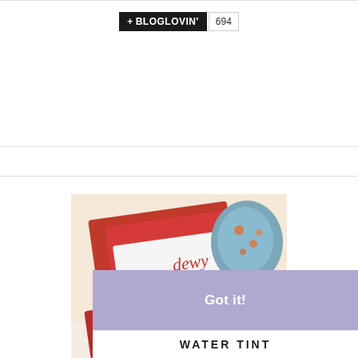[Figure (screenshot): Bloglovin follow button with count of 694]
[Figure (photo): Red and white cosmetic product packaging labeled 'dewy' on a decorative background]
We use cookies to ensure that you get the best experience on our website. By continuing to use this website, we'll assume that you're okay with this. :) Learn more
Got it!
WATER TINT